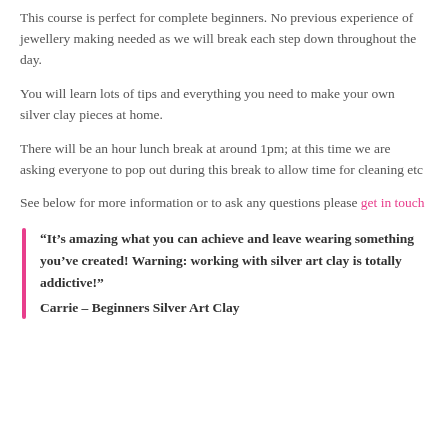This course is perfect for complete beginners. No previous experience of jewellery making needed as we will break each step down throughout the day.
You will learn lots of tips and everything you need to make your own silver clay pieces at home.
There will be an hour lunch break at around 1pm; at this time we are asking everyone to pop out during this break to allow time for cleaning etc
See below for more information or to ask any questions please get in touch
“It’s amazing what you can achieve and leave wearing something you’ve created! Warning: working with silver art clay is totally addictive!” Carrie – Beginners Silver Art Clay